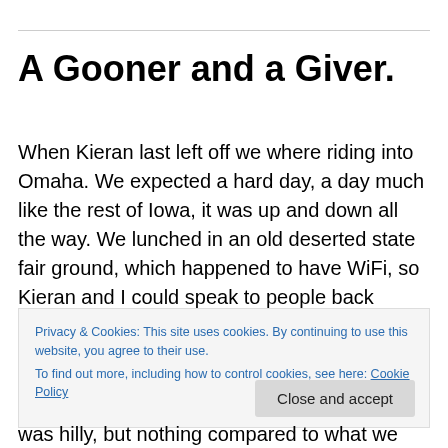A Gooner and a Giver.
When Kieran last left off we where riding into Omaha. We expected a hard day, a day much like the rest of Iowa, it was up and down all the way. We lunched in an old deserted state fair ground, which happened to have WiFi, so Kieran and I could speak to people back home. Which is always nice. We then put our thoughts into our ride for the afternoon, it was going to be our last ride for a while,
Privacy & Cookies: This site uses cookies. By continuing to use this website, you agree to their use.
To find out more, including how to control cookies, see here: Cookie Policy
was hilly, but nothing compared to what we where used to